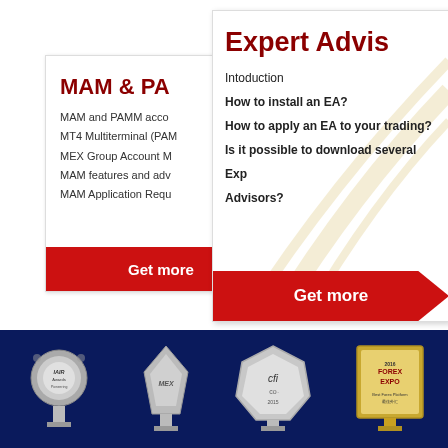[Figure (screenshot): Left card showing MAM & PAMM account information with a red 'Get more' button]
[Figure (screenshot): Right card showing Expert Advisors information with topics listed and a red 'Get more' button]
[Figure (photo): Dark blue footer section showing four award trophies/plaques: IAIR Awards, MEX award, cfi.co award (2015), and Forex Expo award]